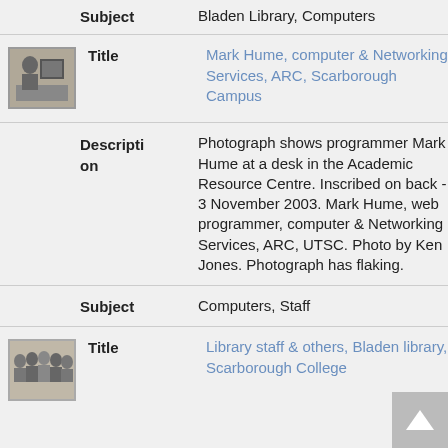Subject: Bladen Library, Computers
[Figure (photo): Black and white thumbnail photo of Mark Hume at a desk with a computer]
Title: Mark Hume, computer & Networking Services, ARC, Scarborough Campus
Description: Photograph shows programmer Mark Hume at a desk in the Academic Resource Centre. Inscribed on back - 3 November 2003. Mark Hume, web programmer, computer & Networking Services, ARC, UTSC. Photo by Ken Jones. Photograph has flaking.
Subject: Computers, Staff
[Figure (photo): Black and white thumbnail photo of library staff and others]
Title: Library staff & others, Bladen library, Scarborough College